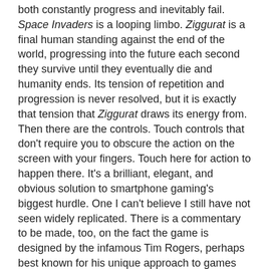both constantly progress and inevitably fail. Space Invaders is a looping limbo. Ziggurat is a final human standing against the end of the world, progressing into the future each second they survive until they eventually die and humanity ends. Its tension of repetition and progression is never resolved, but it is exactly that tension that Ziggurat draws its energy from. Then there are the controls. Touch controls that don't require you to obscure the action on the screen with your fingers. Touch here for action to happen there. It's a brilliant, elegant, and obvious solution to smartphone gaming's biggest hurdle. One I can't believe I still have not seen widely replicated. There is a commentary to be made, too, on the fact the game is designed by the infamous Tim Rogers, perhaps best known for his unique approach to games journalism and criticism. For a writer best known for excess and distractions and tangents and flourishes, Ziggurat is restrained, held back, conservative, minimalist, simple, to the point. I've seen Facebook comments written by Tim that take longer to read than an average Ziggurat game takes to play. Ziggurat is a game of its time. It can only work as a digitally distributed title (so that the developers can keep piling content on the backend as needed), and is one of the few